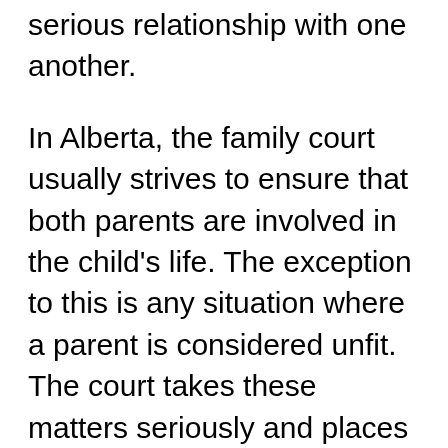serious relationship with one another.
In Alberta, the family court usually strives to ensure that both parents are involved in the child's life. The exception to this is any situation where a parent is considered unfit. The court takes these matters seriously and places the child's best interests first regardless of either parent's wishes.
If you are considering separating from or divorcing your partner and there are children involved, it is imperative that you consult with an experienced